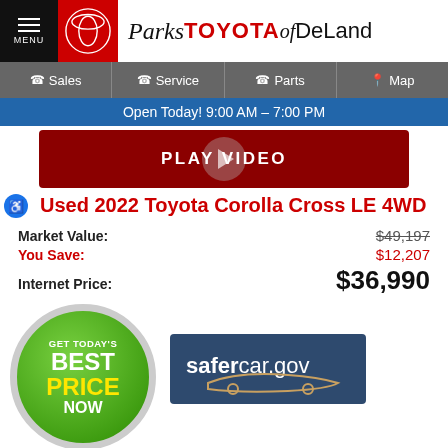Parks Toyota of DeLand
Sales | Service | Parts | Map
Open Today! 9:00 AM - 7:00 PM
[Figure (screenshot): Red PLAY VIDEO button with play circle icon]
Used 2022 Toyota Corolla Cross LE 4WD
Market Value: $49,197
You Save: $12,207
Internet Price: $36,990
[Figure (illustration): Green circular badge reading GET TODAY'S BEST PRICE NOW]
[Figure (logo): safercar.gov logo with car silhouette on dark blue background]